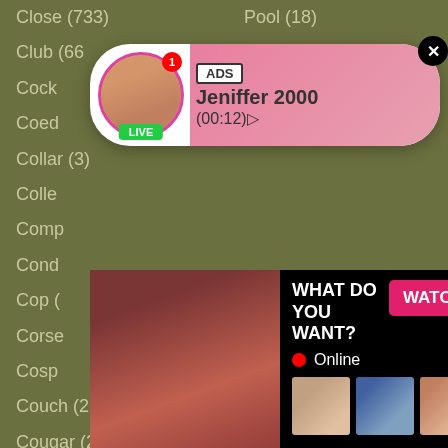Close (733)
Pool (18)
Club (66)
Cock
Coed
Collar (3)
Colle
Comp
Cond
Cop (
Corse
Cosp
Couch (26)
Pussy (1838)
Cougar (269)
Reality (138)
Country (5)
Red (749)
Couple (373)
Redhead (284)
Cousin (17)
Retro (113)
Cowgirl (422)
Revenge (9)
Crazy (113)
Rich (24)
[Figure (screenshot): Ad popup with avatar of woman labeled Jeniffer 2000, LIVE badge, ADS badge, timer (00:12)]
[Figure (screenshot): Ad popup with explicit image on left, WHAT DO YOU WANT? heading, WATCH button, Online indicator, thumbnail images, text: Cumming, ass fucking, squirt or... • ADS]